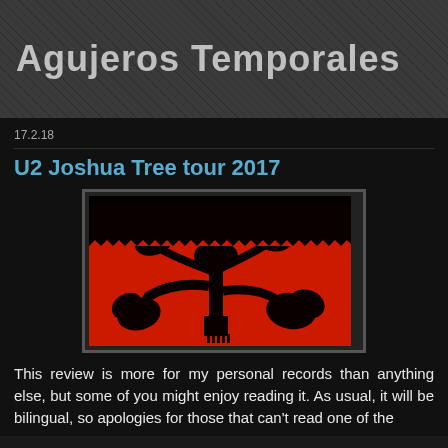Agujeros Temporales
17.2.18
U2 Joshua Tree tour 2017
[Figure (illustration): Black silhouette of a Joshua tree against a red background, with dark sky above and small human figures at the bottom — iconic imagery from U2's The Joshua Tree album/tour.]
This review is more for my personal records than anything else, but some of you might enjoy reading it. As usual, it will be bilingual, so apologies for those that can't read one of the